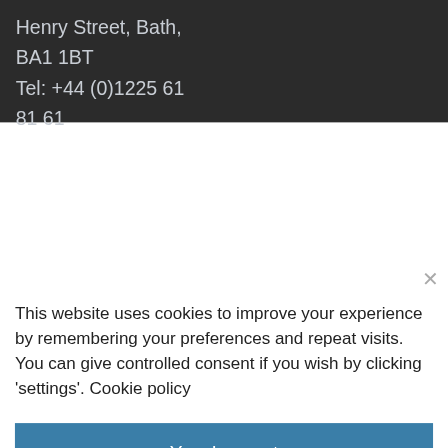Henry Street, Bath,
BA1 1BT
Tel: +44 (0)1225 61 81 61
[Figure (screenshot): Close (X) button for cookie consent dialog]
This website uses cookies to improve your experience by remembering your preferences and repeat visits. You can give controlled consent if you wish by clicking 'settings'. Cookie policy
Yes, I accept
Settings
Reject